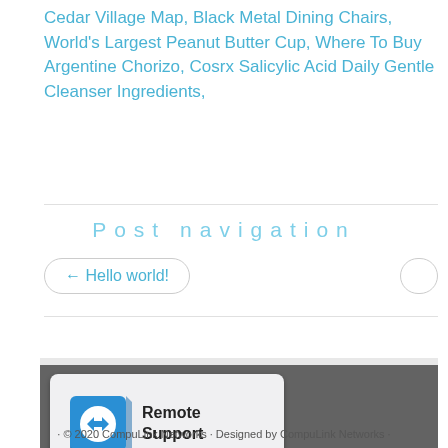Cedar Village Map, Black Metal Dining Chairs, World's Largest Peanut Butter Cup, Where To Buy Argentine Chorizo, Cosrx Salicylic Acid Daily Gentle Cleanser Ingredients,
Post navigation
← Hello world!
[Figure (other): Remote Support button with TeamViewer-style icon showing blue arrows in a box, with bold text 'Remote Support' on a light grey rounded rectangle background]
· © 2020 CompuLink Networks · Designed by CompuLink Networks ·